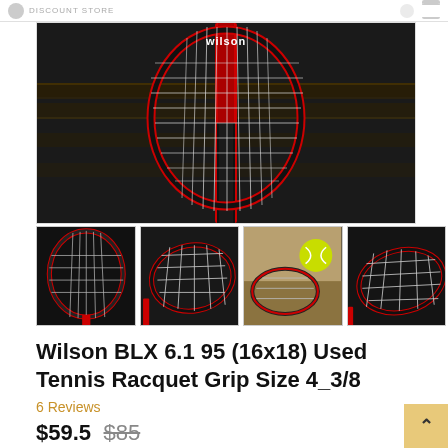DISCOUNT STORE
[Figure (photo): Main product photo of a Wilson BLX tennis racquet, black and red, head-on view showing strings, placed against a dark wooden shelf background]
[Figure (photo): Thumbnail 1: Wilson tennis racquet full view with red frame on dark background]
[Figure (photo): Thumbnail 2: Wilson tennis racquet side view showing strings on dark background]
[Figure (photo): Thumbnail 3: Wilson tennis racquet with a yellow tennis ball on wooden surface]
[Figure (photo): Thumbnail 4: Wilson tennis racquet side angle on dark background]
Wilson BLX 6.1 95 (16x18) Used Tennis Racquet Grip Size 4_3/8
6 Reviews
$59.5 $85